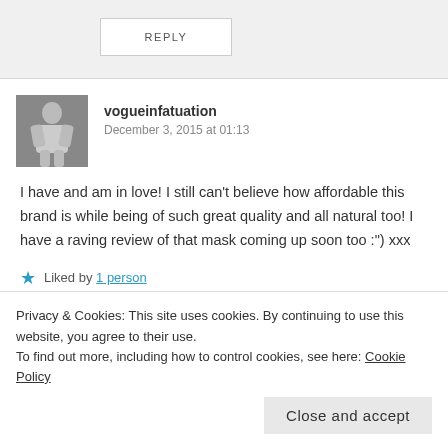REPLY
vogueinfatuation
December 3, 2015 at 01:13
I have and am in love! I still can't believe how affordable this brand is while being of such great quality and all natural too! I have a raving review of that mask coming up soon too :") xxx
★ Liked by 1 person
REPLY
Privacy & Cookies: This site uses cookies. By continuing to use this website, you agree to their use.
To find out more, including how to control cookies, see here: Cookie Policy
Close and accept